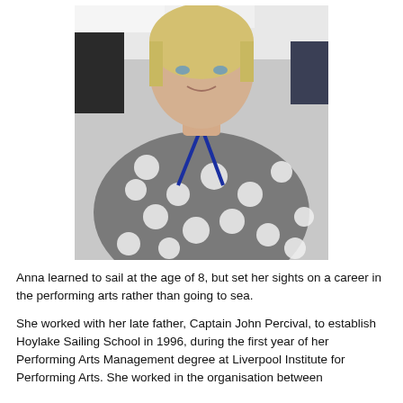[Figure (photo): Portrait photo of a blonde woman wearing a grey polka dot top and a blue lanyard, seated at a table, looking at the camera and smiling slightly.]
Anna learned to sail at the age of 8, but set her sights on a career in the performing arts rather than going to sea.
She worked with her late father, Captain John Percival, to establish Hoylake Sailing School in 1996, during the first year of her Performing Arts Management degree at Liverpool Institute for Performing Arts. She worked in the organisation between